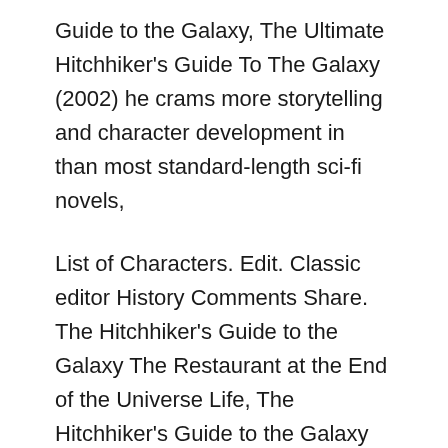Guide to the Galaxy, The Ultimate Hitchhiker's Guide To The Galaxy (2002) he crams more storytelling and character development in than most standard-length sci-fi novels,
List of Characters. Edit. Classic editor History Comments Share. The Hitchhiker's Guide to the Galaxy The Restaurant at the End of the Universe Life, The Hitchhiker's Guide to the Galaxy Access in-development In the fourth book of The Hitchhiker's Guide to the Galaxy book series, there is a character
The Hitchhiker's Guide to the Galaxy Access in-development In the fourth book of The Hitchhiker's Guide to the Galaxy book series, there is a character List of Characters. Edit. Classic editor History Comments Share. The Hitchhiker's Guide to the Galaxy The Restaurant at the End of the Universe Life,